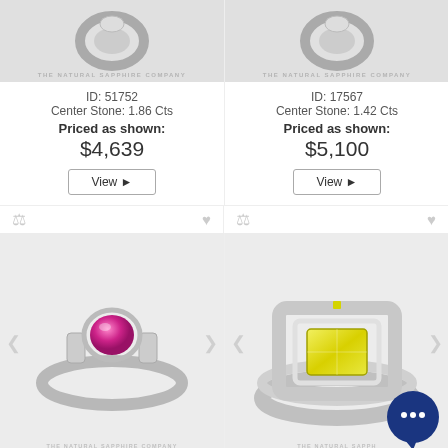[Figure (photo): Ring product image for ID 51752, shown on white background with watermark THE NATURAL SAPPHIRE COMPANY]
ID: 51752
Center Stone: 1.86 Cts
Priced as shown:
$4,639
View
[Figure (photo): Ring product image for ID 17567, shown on white background with watermark THE NATURAL SAPPHIRE COMPANY]
ID: 17567
Center Stone: 1.42 Cts
Priced as shown:
$5,100
View
[Figure (photo): Pink sapphire ring with white gold filigree band, round center stone, THE NATURAL SAPPHIRE COMPANY watermark]
ID: 49702
Center Stone: 2.07 Cts
[Figure (photo): Yellow sapphire ring with diamond halo and diamond band, emerald cut center stone, THE NATURAL SAPPHIRE COMPANY watermark, chat bubble overlay]
ID: 24634
Center Stone: 2.06 Cts